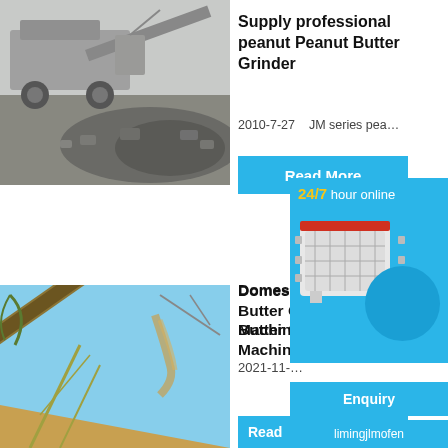[Figure (photo): Aerial/ground view of a large mobile rock crusher machine with a pile of crushed gravel/aggregate material in a quarry setting, black and white toned photo.]
Supply professional peanut Peanut Butter Grinder
2010-7-27    JM series pea...
Read More
[Figure (infographic): Chat widget overlay showing '24/7 hour online' text, an industrial impact crusher machine image, a blue circle, and a 'Click me to chat>>' button.]
[Figure (photo): Photo of a large conveyor belt carrying sand or aggregate materials at an angle against a blue sky at a mining or construction site.]
Domestic Peanut Butter Grinding Machine
2021-11-...
Enquiry
Read
limingjlmofen